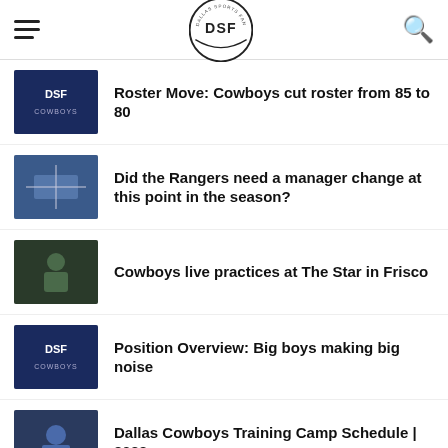Dallas Sports Fan - DSF
Roster Move: Cowboys cut roster from 85 to 80
Did the Rangers need a manager change at this point in the season?
Cowboys live practices at The Star in Frisco
Position Overview: Big boys making big noise
Dallas Cowboys Training Camp Schedule | 2022
Rangers Fire Jon Daniels: How long has this been in the works?
The history of Rangers catchers since the departure of Ivan Rodriguez
Dallas Cowboys season schedule